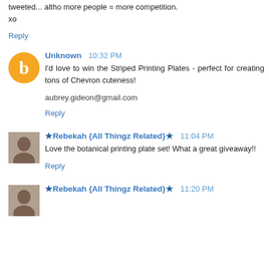tweeted... altho more people = more competition.
xo
Reply
Unknown  10:32 PM
I'd love to win the Striped Printing Plates - perfect for creating tons of Chevron cuteness!
aubrey.gideon@gmail.com
Reply
★Rebekah {All Thingz Related}★  11:04 PM
Love the botanical printing plate set! What a great giveaway!!
Reply
★Rebekah {All Thingz Related}★  11:20 PM